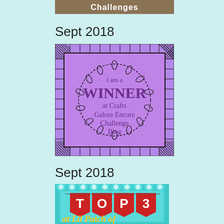[Figure (illustration): Partial image at top showing text 'Challenges' on a banner/label, cropped]
Sept 2018
[Figure (illustration): Purple badge with black leaf/floral wreath border and text 'I am a WINNER at Crafts Galore Encore Challenge Blog' in purple lettering on lavender background with decorative hatched square border]
Sept 2018
[Figure (illustration): Teal scalloped border badge with red banner flags reading 'TOP 3' in white text, and yellow script text 'at Lil Patch of' visible at bottom, on teal background with white daisy decorations]